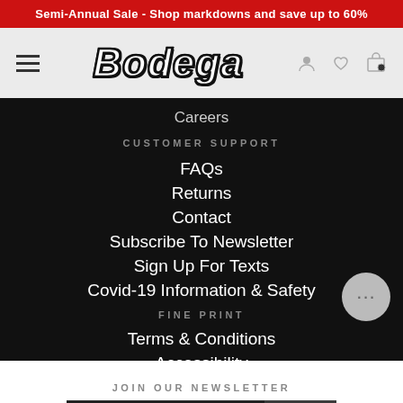Semi-Annual Sale - Shop markdowns and save up to 60%
[Figure (logo): Bodega store logo and navigation header with hamburger menu, Bodega logo, user/heart/bag icons]
Careers
CUSTOMER SUPPORT
FAQs
Returns
Contact
Subscribe To Newsletter
Sign Up For Texts
Covid-19 Information & Safety
FINE PRINT
Terms & Conditions
Accessibility
JOIN OUR NEWSLETTER